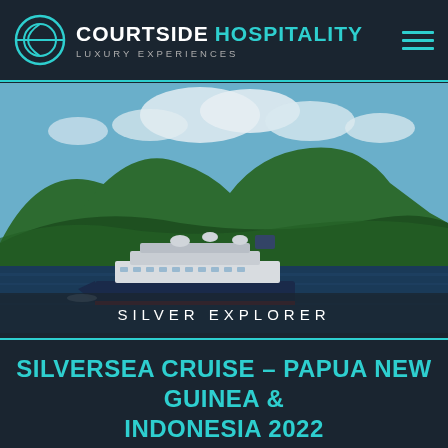COURTSIDE HOSPITALITY — LUXURY EXPERIENCES
[Figure (photo): Aerial photograph of a luxury cruise ship (Silver Explorer) sailing on dark blue water with lush green tropical hillside and cloudy sky in background. Text overlay reads SILVER EXPLORER.]
SILVERSEA CRUISE – PAPUA NEW GUINEA & INDONESIA 2022